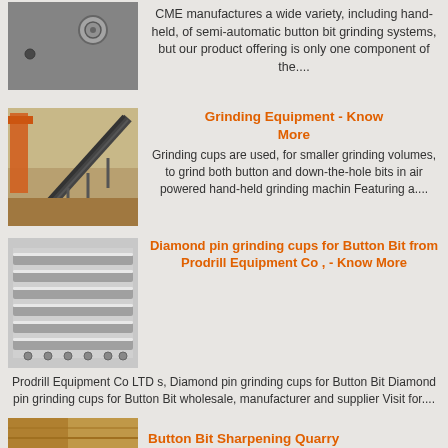[Figure (photo): Close-up photo of a metal surface with a bolt/nut]
CME manufactures a wide variety, including hand-held, of semi-automatic button bit grinding systems, but our product offering is only one component of the....
[Figure (photo): Photo of a large conveyor or grinding belt structure on a dock or industrial site with orange crane structure visible]
Grinding Equipment - Know More
Grinding cups are used, for smaller grinding volumes, to grind both button and down-the-hole bits in air powered hand-held grinding machin Featuring a....
[Figure (photo): Photo of metal grinding cups or pin grinding cups arranged in parallel rows]
Diamond pin grinding cups for Button Bit from Prodrill Equipment Co , - Know More
Prodrill Equipment Co LTD s, Diamond pin grinding cups for Button Bit Diamond pin grinding cups for Button Bit wholesale, manufacturer and supplier Visit for....
[Figure (photo): Partial photo at bottom of page - Button Bit Sharpening Quarry related image]
Button Bit Sharpening Quarry